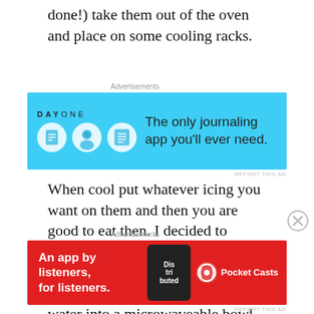done!) take them out of the oven and place on some cooling racks.
[Figure (other): Advertisement banner for DayOne journaling app with light blue background. Shows 'DAY ONE' logo, three circular icons, and text 'The only journaling app you'll ever need.']
When cool put whatever icing you want on them and then you are good to eat then. I decided to attempt at making marshmallow fondant and did this by putting 500g of marshmallows and 5ml of water into a microwaveable bowl and heated for around 2 minutes. I then added around 1kg of icing sugar slowly and in stages, mixing until the mixture became and stiff dough like consistency. I was then able to roll this out and place
[Figure (other): Advertisement banner for Pocket Casts podcast app on red background. Text reads 'An app by listeners, for listeners.' with Pocket Casts logo and a phone graphic.]